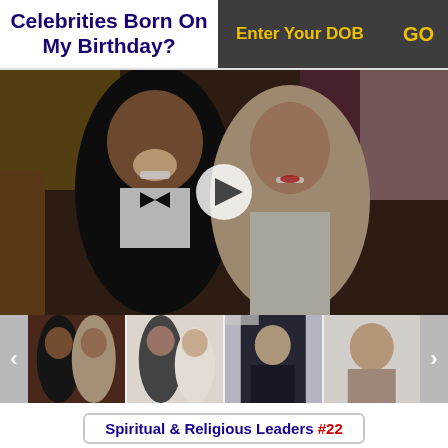Celebrities Born On My Birthday?
Enter Your DOB   GO
[Figure (photo): A man in a tuxedo and a woman in a silver dress sitting together at an event, smiling. A play button overlay is visible in the center.]
[Figure (photo): Thumbnail strip showing four smaller photos of couples and individuals, with left and right navigation arrows.]
Spiritual & Religious Leaders #22